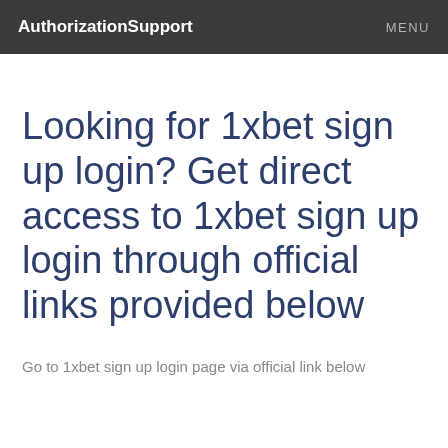AuthorizationSupport  MENU
Looking for 1xbet sign up login? Get direct access to 1xbet sign up login through official links provided below
Go to 1xbet sign up login page via official link below